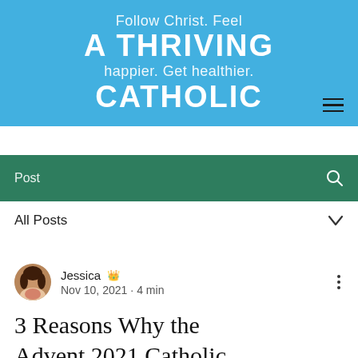[Figure (illustration): Website header banner with sky-blue background. Text reads: 'Follow Christ. Feel' in regular white text, 'A THRIVING' in large bold white uppercase, 'happier. Get healthier.' in regular white text, 'CATHOLIC' in large bold white uppercase. A hamburger menu icon (three horizontal lines) in the bottom-right corner.]
[Figure (screenshot): Green search bar with label 'Post' on the left and a magnifying glass icon on the right.]
All Posts
[Figure (photo): Circular avatar photo of Jessica, a woman.]
Jessica  (admin crown icon)
Nov 10, 2021  ·  4 min
3 Reasons Why the Advent 2021 Catholic